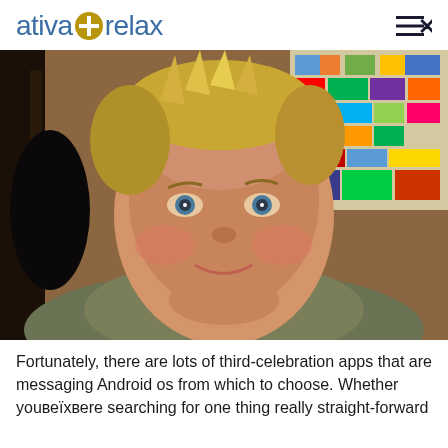ativa+ relax
[Figure (photo): Close-up selfie photo of a middle-aged woman with short blonde hair, wearing a tan/olive t-shirt, with a colorful map visible in the background.]
Fortunately, there are lots of third-celebration apps that are messaging Android os from which to choose. Whether youвЂ™re searching for one thing really straight-forward